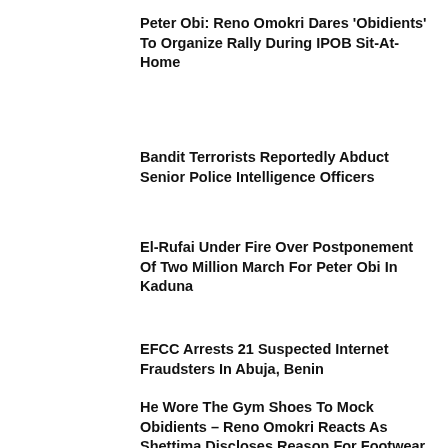Peter Obi: Reno Omokri Dares ‘Obidients’ To Organize Rally During IPOB Sit-At-Home
Bandit Terrorists Reportedly Abduct Senior Police Intelligence Officers
El-Rufai Under Fire Over Postponement Of Two Million March For Peter Obi In Kaduna
EFCC Arrests 21 Suspected Internet Fraudsters In Abuja, Benin
He Wore The Gym Shoes To Mock Obidients – Reno Omokri Reacts As Shettima Discloses Reason For Footwear To NBA Conf...